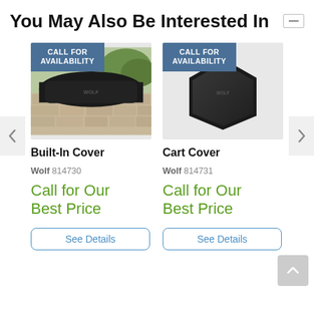You May Also Be Interested In
[Figure (photo): Black built-in grill cover on stone outdoor kitchen, with 'CALL FOR AVAILABILITY' badge]
Built-In Cover
Wolf 814730
Call for Our Best Price
See Details
[Figure (photo): Black hexagonal cart grill cover on white background, with 'CALL FOR AVAILABILITY' badge]
Cart Cover
Wolf 814731
Call for Our Best Price
See Details